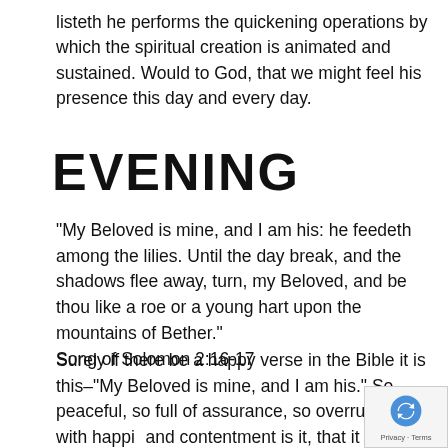listeth he performs the quickening operations by which the spiritual creation is animated and sustained. Would to God, that we might feel his presence this day and every day.
EVENING
“My Beloved is mine, and I am his: he feedeth among the lilies. Until the day break, and the shadows flee away, turn, my Beloved, and be thou like a roe or a young hart upon the mountains of Bether.” Song of Solomon 2:16-17
Surely if there be a happy verse in the Bible it is this–“My Beloved is mine, and I am his.” So peaceful, so full of assurance, so overrunning with happi- and contentment is it, that it might well have be- written by the same hand which penned the tw-